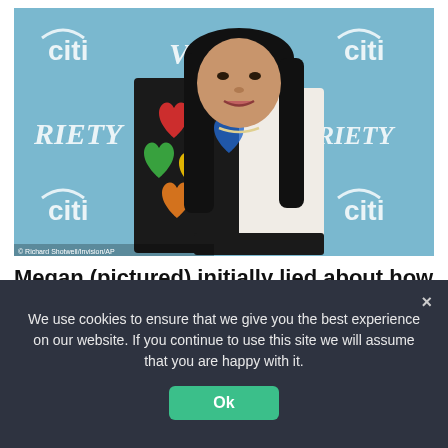[Figure (photo): Woman standing in front of a Variety and Citi branded backdrop, wearing a colorful heart-patterned jacket and white shirt with long dark hair]
© Richard Shotwell/Invision/AP
Megan (pictured) initially lied about how she sustained her injuries, saying that she feared
We use cookies to ensure that we give you the best experience on our website. If you continue to use this site we will assume that you are happy with it.